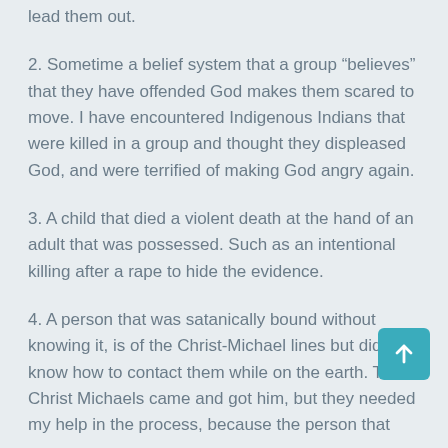lead them out.
2. Sometime a belief system that a group “believes” that they have offended God makes them scared to move. I have encountered Indigenous Indians that were killed in a group and thought they displeased God, and were terrified of making God angry again.
3. A child that died a violent death at the hand of an adult that was possessed. Such as an intentional killing after a rape to hide the evidence.
4. A person that was satanically bound without knowing it, is of the Christ-Michael lines but did know how to contact them while on the earth. The Christ Michaels came and got him, but they needed my help in the process, because the person that